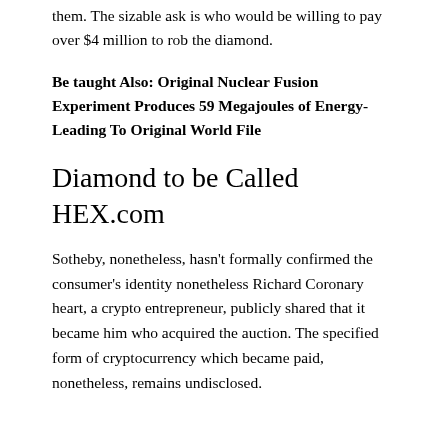them. The sizable ask is who would be willing to pay over $4 million to rob the diamond.
Be taught Also: Original Nuclear Fusion Experiment Produces 59 Megajoules of Energy-Leading To Original World File
Diamond to be Called HEX.com
Sotheby, nonetheless, hasn't formally confirmed the consumer's identity nonetheless Richard Coronary heart, a crypto entrepreneur, publicly shared that it became him who acquired the auction. The specified form of cryptocurrency which became paid, nonetheless, remains undisclosed.